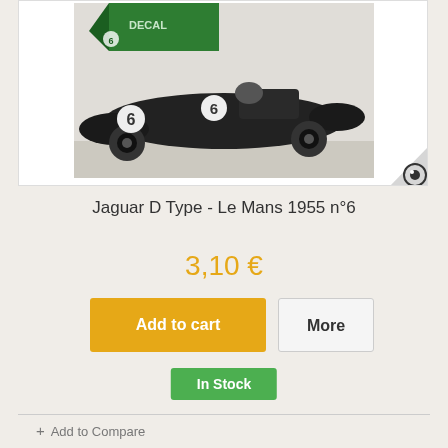[Figure (photo): Black and white photograph of a Jaguar D Type racing car numbered 6, with a green decal/flag visible in the upper left corner of the image.]
Jaguar D Type - Le Mans 1955 n°6
3,10 €
Add to cart
More
In Stock
+ Add to Compare